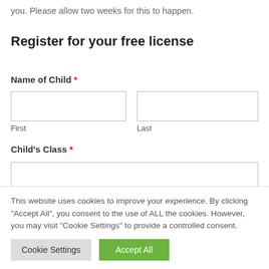you. Please allow two weeks for this to happen.
Register for your free license
Name of Child *
First
Last
Child's Class *
This website uses cookies to improve your experience. By clicking “Accept All”, you consent to the use of ALL the cookies. However, you may visit “Cookie Settings” to provide a controlled consent.
Cookie Settings
Accept All